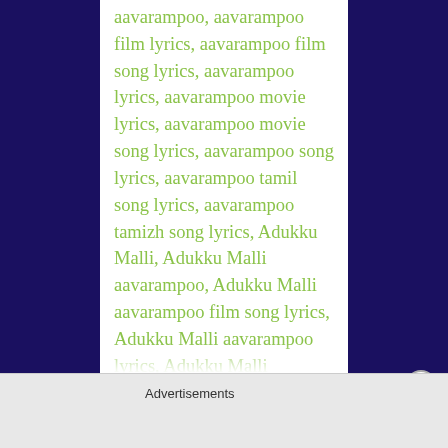aavarampoo, aavarampoo film lyrics, aavarampoo film song lyrics, aavarampoo lyrics, aavarampoo movie lyrics, aavarampoo movie song lyrics, aavarampoo song lyrics, aavarampoo tamil song lyrics, aavarampoo tamizh song lyrics, Adukku Malli, Adukku Malli aavarampoo, Adukku Malli aavarampoo film song lyrics, Adukku Malli aavarampoo lyrics, Adukku Malli aavarampoo movie song lyrics, Adukku Malli aavarampoo song lyrics, Adukku Malli aavarampoo tamil song lyrics, Adukku Malli film song lyrics, Adukku Malli lyrics, Adukku Malli movie song lyrics, Adukku Malli song lyrics, Adukku Malli tamil film song lyrics, bharathan, film, ilaiyaraaja, lyrics, movie, nandhini, nassar, pulamipithan, s. janaki, S.P.B., song, sp
Advertisements